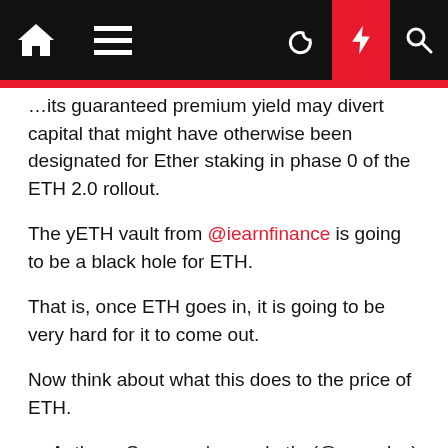Navigation bar with home, menu, moon, lightning, and search icons
...its guaranteed premium yield may divert capital that might have otherwise been designated for Ether staking in phase 0 of the ETH 2.0 rollout.
The yETH vault from @iearnfinance is going to be a black hole for ETH.
That is, once ETH goes in, it is going to be very hard for it to come out.
Now think about what this does to the price of ETH.
— Anthony Sassano | sassal.eth  (@sassalox) August 31, 2020
Nuggets News founder Alex Saunders also believes that yETH has major potential:
The new product that has me excited & even more